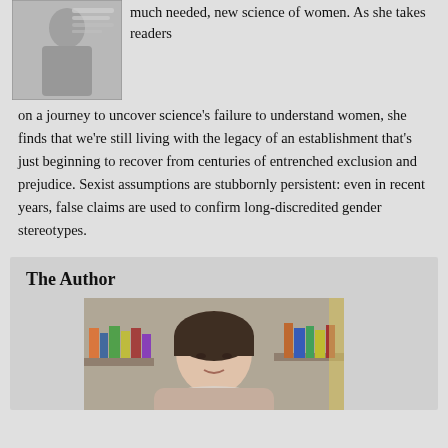[Figure (photo): Book cover of a woman holding her chin, with quote 'An important and necessary book' from Stephen Curry, The Guardian]
much needed, new science of women. As she takes readers on a journey to uncover science's failure to understand women, she finds that we're still living with the legacy of an establishment that's just beginning to recover from centuries of entrenched exclusion and prejudice. Sexist assumptions are stubbornly persistent: even in recent years, false claims are used to confirm long-discredited gender stereotypes.
The Author
[Figure (photo): Author photo showing a woman with dark short hair against a bookshelf background]